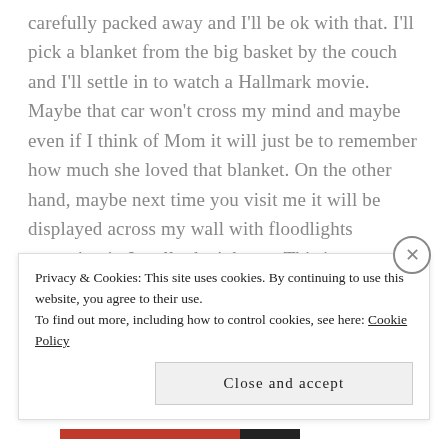carefully packed away and I'll be ok with that. I'll pick a blanket from the big basket by the couch and I'll settle in to watch a Hallmark movie.  Maybe that car won't cross my mind and maybe even if I think of Mom it will just be to remember how much she loved that blanket. On the other hand, maybe next time you visit me it will be displayed across my wall with floodlights accenting it.  I really don't know.  This is an ongoing process.
Privacy & Cookies: This site uses cookies. By continuing to use this website, you agree to their use.
To find out more, including how to control cookies, see here: Cookie Policy
Close and accept